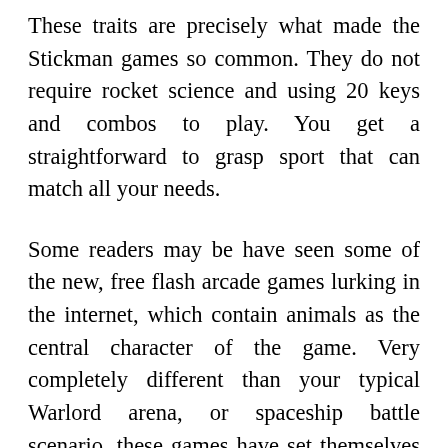These traits are precisely what made the Stickman games so common. They do not require rocket science and using 20 keys and combos to play. You get a straightforward to grasp sport that can match all your needs.
Some readers may be have seen some of the new, free flash arcade games lurking in the internet, which contain animals as the central character of the game. Very completely different than your typical Warlord arena, or spaceship battle scenario, these games have set themselves a niche of their very own in a peaceful farm setting or vogue salon. Among the most popular those with in the set...